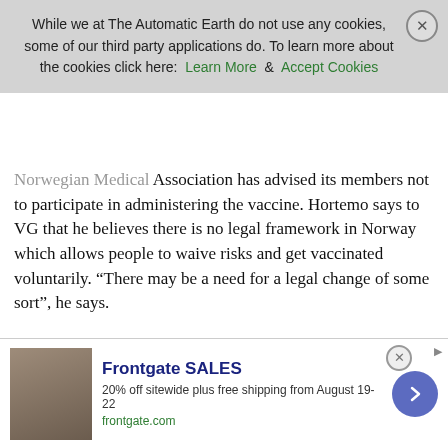While we at The Automatic Earth do not use any cookies, some of our third party applications do. To learn more about the cookies click here: Learn More & Accept Cookies
Norwegian Medical Association has advised its members not to participate in administering the vaccine. Hortemo says to VG that he believes there is no legal framework in Norway which allows people to waive risks and get vaccinated voluntarily. “There may be a need for a legal change of some sort”, he says.
[..] Given the low levels of infection rates in Norway at the moment, and the availability of mRNA vaccines, the National Institute of Public Health have said that for women in Norway aged 18-50, it would be more risky to get vaccinated with the Johnson & Johnson vaccine, compared to waiting for an mRNA shot. According to Hortemo, legally speaking this is unchartered waters. “This is something completely new, because we usually do not use vaccines with lethal side effects. One exception is the vaccine against yellow
[Figure (other): Advertisement banner for Frontgate SALES: 20% off sitewide plus free shipping from August 19-22. frontgate.com. Shows outdoor furniture photo on left, arrow button on right.]